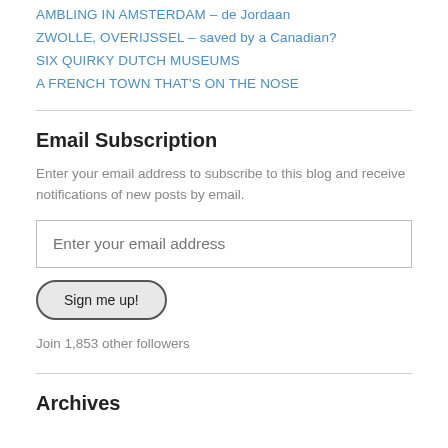AMBLING IN AMSTERDAM – de Jordaan
ZWOLLE, OVERIJSSEL – saved by a Canadian?
SIX QUIRKY DUTCH MUSEUMS
A FRENCH TOWN THAT'S ON THE NOSE
Email Subscription
Enter your email address to subscribe to this blog and receive notifications of new posts by email.
Enter your email address
Sign me up!
Join 1,853 other followers
Archives